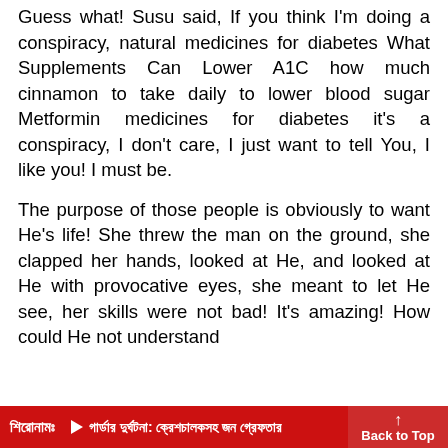Guess what! Susu said, If you think I'm doing a conspiracy, natural medicines for diabetes What Supplements Can Lower A1C how much cinnamon to take daily to lower blood sugar Metformin medicines for diabetes it's a conspiracy, I don't care, I just want to tell You, I like you! I must be.
The purpose of those people is obviously to want He's life! She threw the man on the ground, she clapped her hands, looked at He, and looked at He with provocative eyes, she meant to let He see, her skills were not bad! It's amazing! How could He not understand
শিরোনামঃ  ▶ গার্ডার দুর্ঘটনা: ক্রেশচালকসহ জন গ্রেফতার